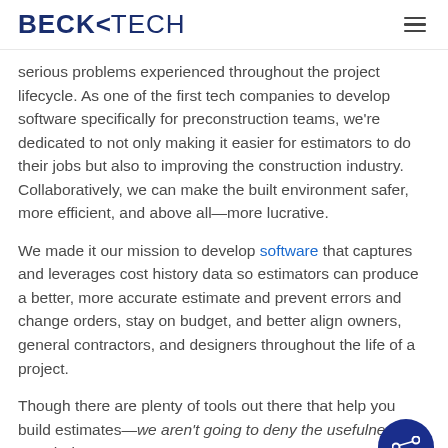BECK TECH
serious problems experienced throughout the project lifecycle. As one of the first tech companies to develop software specifically for preconstruction teams, we’re dedicated to not only making it easier for estimators to do their jobs but also to improving the construction industry. Collaboratively, we can make the built environment safer, more efficient, and above all—more lucrative.
We made it our mission to develop software that captures and leverages cost history data so estimators can produce a better, more accurate estimate and prevent errors and change orders, stay on budget, and better align owners, general contractors, and designers throughout the life of a project.
Though there are plenty of tools out there that help you build estimates—we aren’t going to deny the usefulness of Excel—but